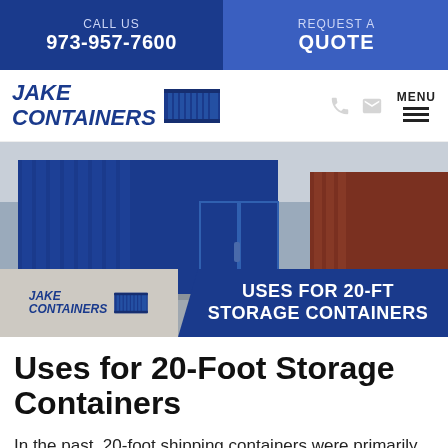CALL US 973-957-7600 | REQUEST A QUOTE
[Figure (logo): Jake Containers logo with container icon]
[Figure (photo): Photo of blue 20-foot storage containers outdoors with overlay text 'USES FOR 20-FT STORAGE CONTAINERS' and Jake Containers branding]
Uses for 20-Foot Storage Containers
In the past, 20-foot shipping containers were primarily used to transport goods across the country, and they were perfect in that role because they kept items safe and dry throughout the entire journey.